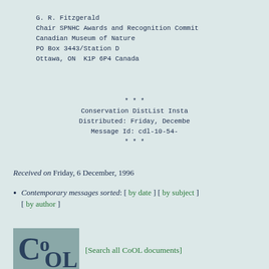G. R. Fitzgerald
Chair SPNHC Awards and Recognition Commit
Canadian Museum of Nature
PO Box 3443/Station D
Ottawa, ON  K1P 6P4 Canada
* * *
Conservation DistList Insta
Distributed: Friday, Decembe
Message Id: cdl-10-54-
* * *
Received on Friday, 6 December, 1996
Contemporary messages sorted: [ by date ] [ by subject ] [ by author ]
[Figure (logo): CoOL logo — stylized letters C, o, O, L in dark teal on a gray-blue square background]
[Search all CoOL documents]